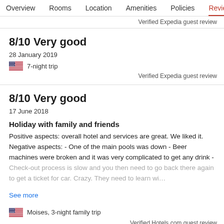Overview  Rooms  Location  Amenities  Policies  Reviews
Verified Expedia guest review
8/10 Very good
28 January 2019
7-night trip
Verified Expedia guest review
8/10 Very good
17 June 2018
Holiday with family and friends
Positive aspects: overall hotel and services are great. We liked it. Negative aspects: - One of the main pools was down - Beer machines were broken and it was very complicated to get any drink - Check-out process is slow and you then need to go back there again to get a ticket for car. Crazy. They need to learn wi…
See more
Moises, 3-night family trip
Verified Hotels.com guest review